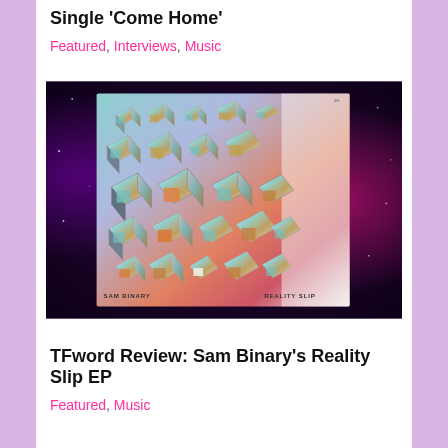Single 'Come Home'
Featured, Interviews, Music
[Figure (photo): Album cover art for Sam Binary's Reality Slip EP — metallic 3D chrome letter fragments arranged in a grid on a gradient background (teal, orange, pink), with 'SAM BINARY' bottom left and 'REALITY SLIP' bottom right. Set against a dark cosmic/galaxy background.]
TFword Review: Sam Binary's Reality Slip EP
Featured, Music